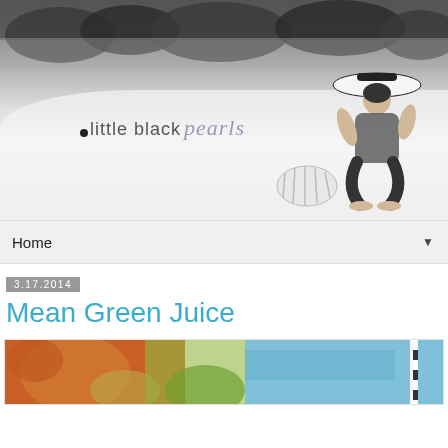[Figure (photo): Black and white beach photo banner with a woman sitting on the sand wearing a wide-brim hat, with 'little black pearls' logo overlaid]
Home
3.17.2014
Mean Green Juice
[Figure (photo): Partial photo of colorful drinks, green juice visible, with striped element on the right]